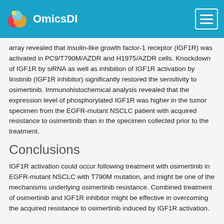OmicsDI
array revealed that insulin-like growth factor-1 receptor (IGF1R) was activated in PC9/T790M/AZDR and H1975/AZDR cells. Knockdown of IGF1R by siRNA as well as inhibition of IGF1R activation by linstinib (IGF1R inhibitor) significantly restored the sensitivity to osimertinib. Immunohistochemical analysis revealed that the expression level of phosphorylated IGF1R was higher in the tumor specimen from the EGFR-mutant NSCLC patient with acquired resistance to osimertinib than in the specimen collected prior to the treatment.
Conclusions
IGF1R activation could occur following treatment with osimertinib in EGFR-mutant NSCLC with T790M mutation, and might be one of the mechanisms underlying osimertinib resistance. Combined treatment of osimertinib and IGF1R inhibitor might be effective in overcoming the acquired resistance to osimertinib induced by IGF1R activation.